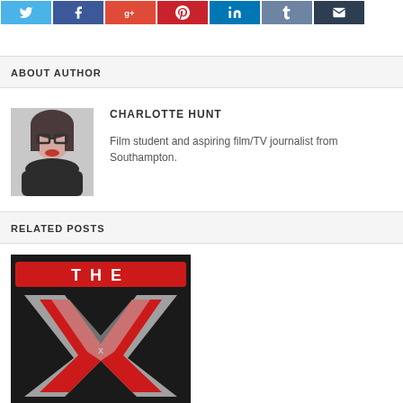[Figure (screenshot): Social media share buttons row: Twitter (blue), Facebook (dark blue), Google+ (red-orange), Pinterest (red), LinkedIn (blue), Tumblr (grey-blue), and Email (dark navy) icon buttons]
ABOUT AUTHOR
[Figure (photo): Profile photo of Charlotte Hunt — a young woman with glasses and red lips, wearing a dark top, selfie-style photo in greyscale/colour]
CHARLOTTE HUNT
Film student and aspiring film/TV journalist from Southampton.
RELATED POSTS
[Figure (logo): The X Factor TV show logo — red banner at top reading 'THE', large silver/red metallic X below with small x in centre]